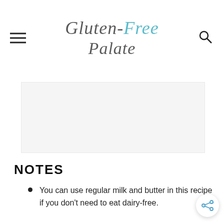Gluten-Free Palate
[Figure (other): Advertisement placeholder rectangle]
NOTES
You can use regular milk and butter in this recipe if you don't need to eat dairy-free.
When working with or measuring gluten-free flour, spoon the flour into the measuring cup and level. Do not scoop your measuring cup into the